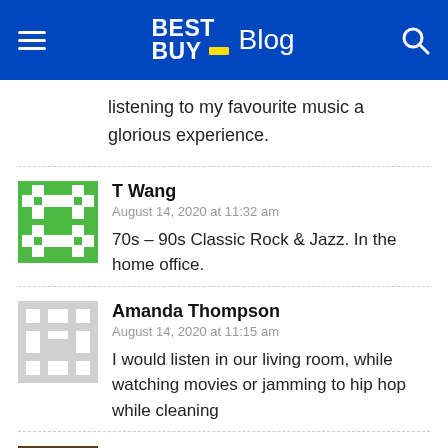Best Buy Blog
listening to my favourite music a glorious experience.
T Wang
August 14, 2020 at 11:32 am
70s – 90s Classic Rock & Jazz. In the home office.
Amanda Thompson
August 14, 2020 at 11:15 am
I would listen in our living room, while watching movies or jamming to hip hop while cleaning
Jamie F.